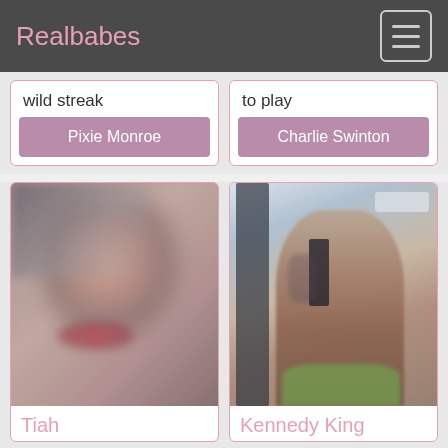Realbabes
wild streak
to play
Pixie Monroe
Charlie Swinton
[Figure (photo): Blurred close-up photo of a person's face]
Tiah
[Figure (photo): Photo of a person in a hotel room taking a mirror selfie]
Kennedy King